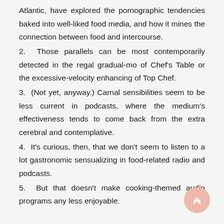Atlantic, have explored the pornographic tendencies baked into well-liked food media, and how it mines the connection between food and intercourse.
2.  Those parallels can be most contemporarily detected in the regal gradual-mo of Chef's Table or the excessive-velocity enhancing of Top Chef.
3.  (Not yet, anyway.) Carnal sensibilities seem to be less current in podcasts, where the medium's effectiveness tends to come back from the extra cerebral and contemplative.
4.  It's curious, then, that we don't seem to listen to a lot gastronomic sensualizing in food-related radio and podcasts.
5.  But that doesn't make cooking-themed audio programs any less enjoyable.